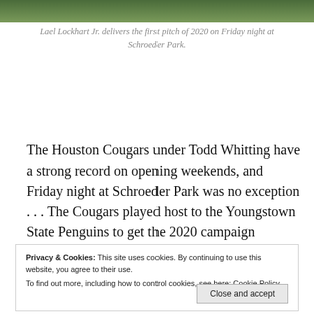[Figure (photo): Partial view of a baseball field or park, showing green grass/turf at the top of the page]
Lael Lockhart Jr. delivers the first pitch of 2020 on Friday night at Schroeder Park.
The Houston Cougars under Todd Whitting have a strong record on opening weekends, and Friday night at Schroeder Park was no exception . . . The Cougars played host to the Youngstown State Penguins to get the 2020 campaign underway.
Privacy & Cookies: This site uses cookies. By continuing to use this website, you agree to their use.
To find out more, including how to control cookies, see here: Cookie Policy
Close and accept
last season . . . Lockhart was perfect through three